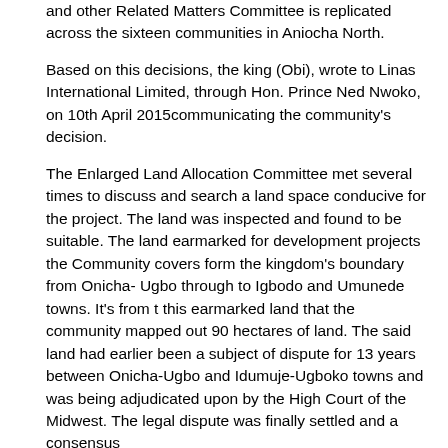and other Related Matters Committee is replicated across the sixteen communities in Aniocha North.
Based on this decisions, the king (Obi), wrote to Linas International Limited, through Hon. Prince Ned Nwoko, on 10th April 2015communicating the community's decision.
The Enlarged Land Allocation Committee met several times to discuss and search a land space conducive for the project. The land was inspected and found to be suitable. The land earmarked for development projects the Community covers form the kingdom's boundary from Onicha- Ugbo through to Igbodo and Umunede towns. It's from t this earmarked land that the community mapped out 90 hectares of land. The said land had earlier been a subject of dispute for 13 years between Onicha-Ugbo and Idumuje-Ugboko towns and was being adjudicated upon by the High Court of the Midwest. The legal dispute was finally settled and a consensus